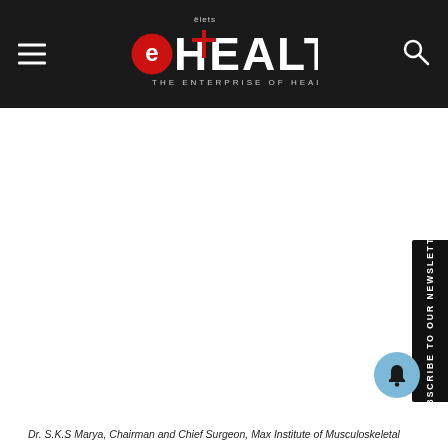eHEALTH – THE ENTERPRISE OF HEALTHCARE
[Figure (logo): eHealth magazine logo with red circle-e and bold HEALTH text, tagline THE ENTERPRISE OF HEALTHCARE]
[Figure (photo): Large white/blank image area (photo content not visible)]
Dr. S.K.S Marya, Chairman and Chief Surgeon, Max Institute of Musculoskeletal